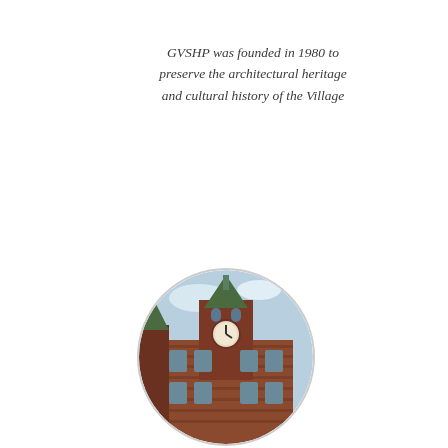GVSHP was founded in 1980 to preserve the architectural heritage and cultural history of the Village
[Figure (photo): Circular cropped photograph of a historic red-brick building with a clock tower, likely Jefferson Market Library or similar Greenwich Village landmark]
[Figure (infographic): Green circle button reading JOIN OUR E-MAIL LIST in bold white capital letters]
As the legislative session nears the end, the State cap on the size of residential buildings are going up greater, this is not enough for pro whatsoever. This would allow the New York City, promoting an eve consist of luxury, market-rate hou
[Figure (photo): Circular cropped photograph of a classical stone building facade with columns, partially visible at bottom of page]